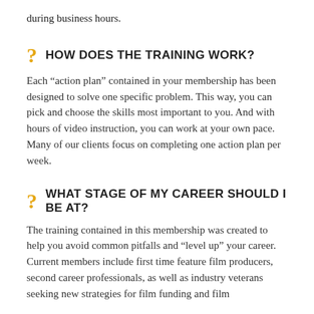during business hours.
HOW DOES THE TRAINING WORK?
Each “action plan” contained in your membership has been designed to solve one specific problem. This way, you can pick and choose the skills most important to you. And with hours of video instruction, you can work at your own pace. Many of our clients focus on completing one action plan per week.
WHAT STAGE OF MY CAREER SHOULD I BE AT?
The training contained in this membership was created to help you avoid common pitfalls and “level up” your career. Current members include first time feature film producers, second career professionals, as well as industry veterans seeking new strategies for film funding and film